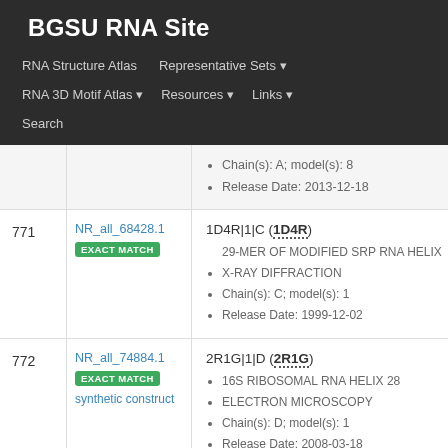BGSU RNA Site
RNA Structure Atlas | Representative Sets ▾ | RNA 3D Motif Atlas ▾ | Resources ▾ | Links ▾ | Search
| # | ID | Info |
| --- | --- | --- |
|  |  | Chain(s): A; model(s): 8
Release Date: 2013-12-18 |
| 771 | NR_all_68428.1
EXACT MATCH | 1D4R|1|C (1D4R)
29-MER OF MODIFIED SRP RNA HELIX
X-RAY DIFFRACTION
Chain(s): C; model(s): 1
Release Date: 1999-12-02 |
| 772 | NR_all_74884.1
EXACT MATCH
synthetic construct | 2R1G|1|D (2R1G)
16S RIBOSOMAL RNA HELIX 28
ELECTRON MICROSCOPY
Chain(s): D; model(s): 1
Release Date: 2008-03-18 |